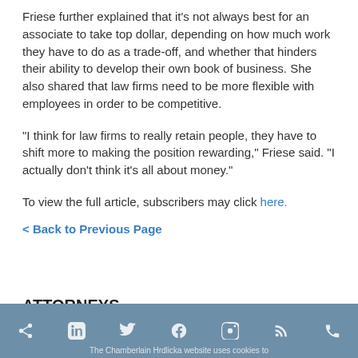Friese further explained that it's not always best for an associate to take top dollar, depending on how much work they have to do as a trade-off, and whether that hinders their ability to develop their own book of business. She also shared that law firms need to be more flexible with employees in order to be competitive.
"I think for law firms to really retain people, they have to shift more to making the position rewarding," Friese said. "I actually don't think it's all about money."
To view the full article, subscribers may click here.
< Back to Previous Page
ATTORNEYS
The Chamberlain Hrdlicka website uses cookies to